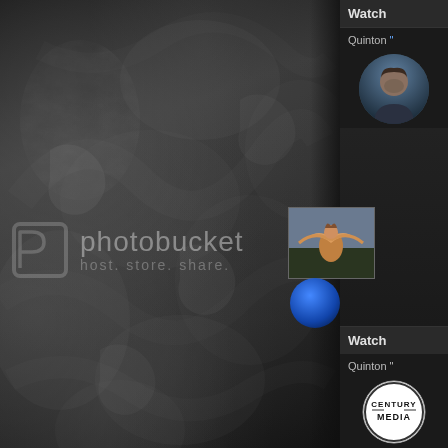[Figure (screenshot): Screenshot of a web page showing a Photobucket image placeholder (dark smoky background with Photobucket logo and tagline 'host. store. share.') alongside a partial right panel showing Watch/Quinton UI elements, a male avatar photo, a bird/angel figure thumbnail, a blue circle thumbnail, Watch bar, Quinton text, and a Century Media logo.]